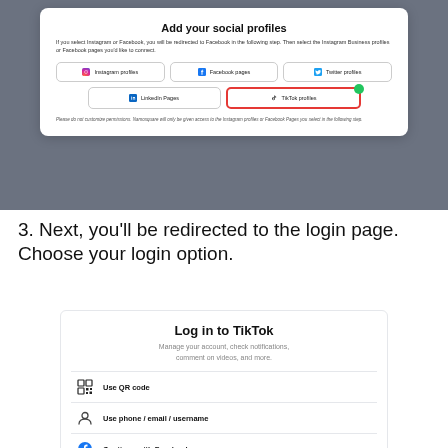[Figure (screenshot): Modal dialog titled 'Add your social profiles' with buttons for Instagram profiles, Facebook pages, Twitter profiles, LinkedIn Pages, and TikTok profiles (TikTok selected with red border and green badge)]
3. Next, you'll be redirected to the login page. Choose your login option.
[Figure (screenshot): TikTok login page with title 'Log in to TikTok', subtitle 'Manage your account, check notifications, comment on videos, and more.' and options: Use QR code, Use phone / email / username, Continue with Facebook]